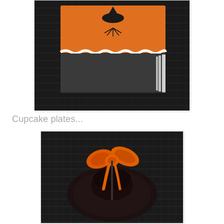[Figure (photo): A Halloween-themed orange and black book/journal with a witch silhouette on a wicker background. The book has orange top and black bottom with white wavy trim, shown from above at an angle.]
Cupcake plates...
[Figure (photo): A black cupcake or dessert on a dark plate, tied with a bright orange ribbon bow, on a wicker/basket-weave background, viewed from above.]